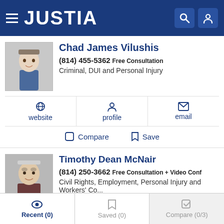JUSTIA
Chad James Vilushis
(814) 455-5362 Free Consultation
Criminal, DUI and Personal Injury
website   profile   email
Compare   Save
Timothy Dean McNair
(814) 250-3662 Free Consultation + Video Conf
Civil Rights, Employment, Personal Injury and Workers' Co...
website   profile   email
Recent (0)   Saved (0)   Compare (0/3)